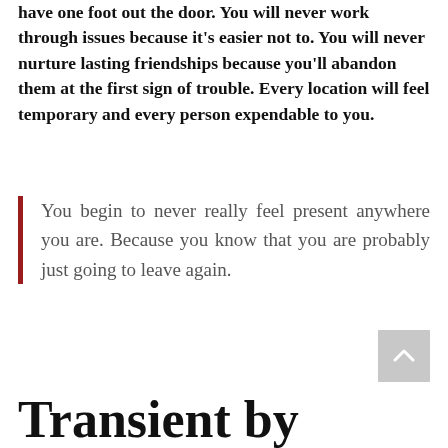have one foot out the door. You will never work through issues because it's easier not to. You will never nurture lasting friendships because you'll abandon them at the first sign of trouble. Every location will feel temporary and every person expendable to you.
You begin to never really feel present anywhere you are. Because you know that you are probably just going to leave again.
Transient by